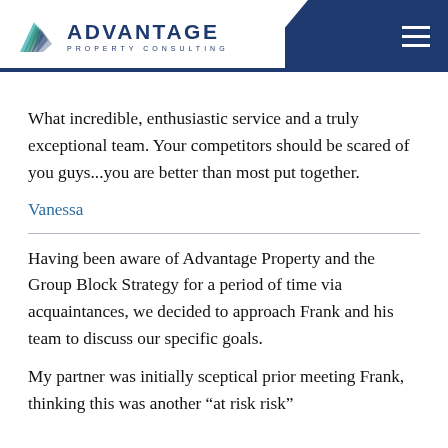ADVANTAGE PROPERTY CONSULTING
What incredible, enthusiastic service and a truly exceptional team. Your competitors should be scared of you guys...you are better than most put together.
Vanessa
Having been aware of Advantage Property and the Group Block Strategy for a period of time via acquaintances, we decided to approach Frank and his team to discuss our specific goals.
My partner was initially sceptical prior meeting Frank, thinking this was another "at risk risk"